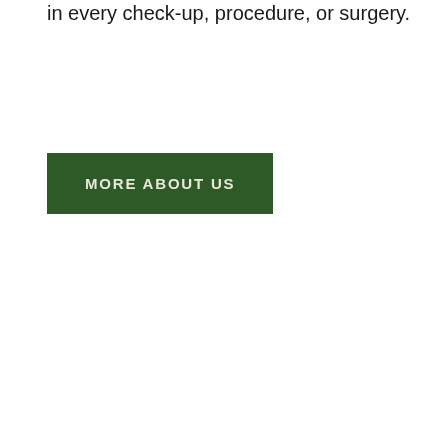in every check-up, procedure, or surgery.
MORE ABOUT US